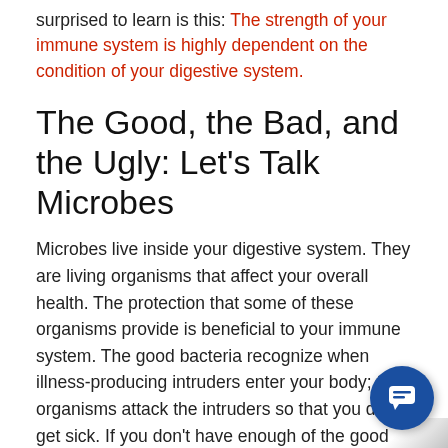surprised to learn is this: The strength of your immune system is highly dependent on the condition of your digestive system.
The Good, the Bad, and the Ugly: Let's Talk Microbes
Microbes live inside your digestive system. They are living organisms that affect your overall health. The protection that some of these organisms provide is beneficial to your immune system. The good bacteria recognize when illness-producing intruders enter your body; the organisms attack the intruders so that you don't get sick. If you don't have enough of the good bacteria in your gut, you will be more susceptible to viruses like colds and stomach vi... You also may be at more risk for autoimmune